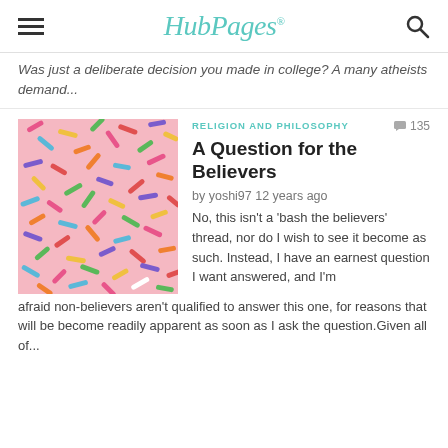HubPages
Was just a deliberate decision you made in college? A many atheists demand...
[Figure (photo): Close-up photo of colorful sprinkles/jimmies candy in various colors including pink, green, blue, yellow, orange, red, and white]
RELIGION AND PHILOSOPHY
A Question for the Believers
by yoshi97 12 years ago
No, this isn't a 'bash the believers' thread, nor do I wish to see it become as such. Instead, I have an earnest question I want answered, and I'm afraid non-believers aren't qualified to answer this one, for reasons that will be become readily apparent as soon as I ask the question.Given all of...